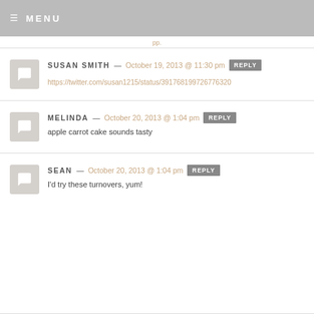MENU
pp.
SUSAN SMITH — October 19, 2013 @ 11:30 pm  REPLY
https://twitter.com/susan1215/status/391768199726776320
MELINDA — October 20, 2013 @ 1:04 pm  REPLY
apple carrot cake sounds tasty
SEAN — October 20, 2013 @ 1:04 pm  REPLY
I'd try these turnovers, yum!